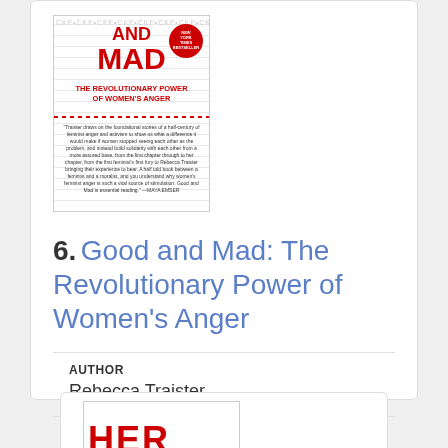[Figure (illustration): Book cover of 'Good and Mad: The Revolutionary Power of Women's Anger' with red title text, CKF pattern background, and NYT Bestseller badge]
6. Good and Mad: The Revolutionary Power of Women's Anger
AUTHOR
Rebecca Traister
PUBLICATION DATE
2018
[Figure (illustration): Partial view of another book cover at the bottom of the page showing red letters]